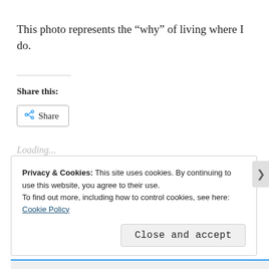This photo represents the “why” of living where I do.
Share this:
[Figure (other): Share button with share icon]
Loading...
Privacy & Cookies: This site uses cookies. By continuing to use this website, you agree to their use.
To find out more, including how to control cookies, see here: Cookie Policy
Close and accept